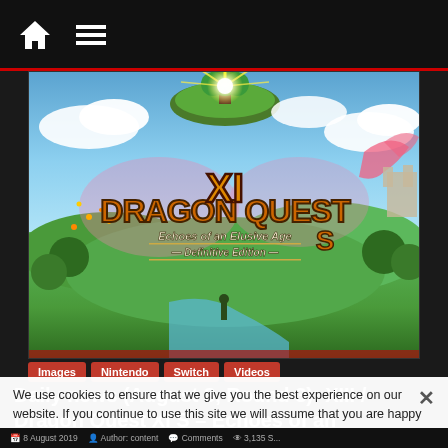Navigation bar with home and menu icons
[Figure (screenshot): Dragon Quest XI S: Echoes of an Elusive Age – Definitive Edition game cover art showing a fantasy landscape with floating island, sun rays, lush green terrain, and the Dragon Quest XI S logo in golden lettering]
Images
Nintendo
Switch
Videos
We use cookies to ensure that we give you the best experience on our website. If you continue to use this site we will assume that you are happy with it.
I understand | Privacy policy
Daily news (August 8, Round 3): XIII / Dragon Quest XI S – Echoes of an Elusive Age – Definitive Edition
8 August 2019  Author: content  Comments  3,135 S...